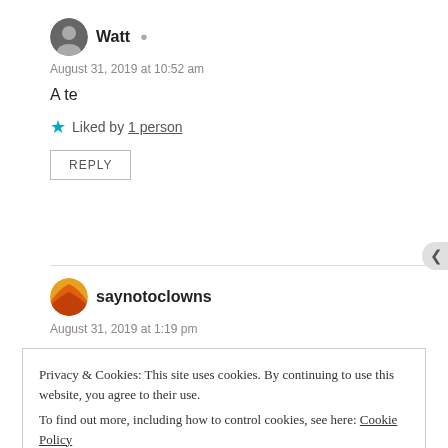Watt
August 31, 2019 at 10:52 am
A te
★ Liked by 1 person
REPLY
saynotoclowns
August 31, 2019 at 1:19 pm
Privacy & Cookies: This site uses cookies. By continuing to use this website, you agree to their use. To find out more, including how to control cookies, see here: Cookie Policy
Close and accept